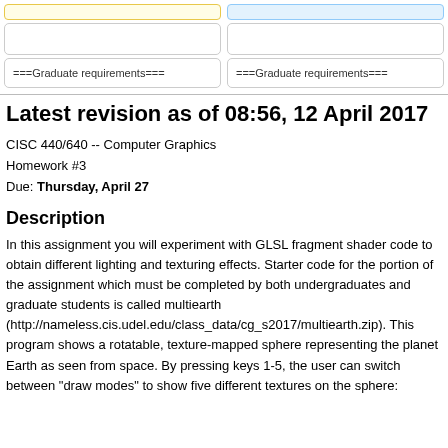[Figure (screenshot): Top UI bar with yellow and blue rounded input boxes]
[Figure (screenshot): Two empty rounded rectangle input boxes side by side]
[Figure (screenshot): Two boxes labeled ===Graduate requirements=== side by side]
Latest revision as of 08:56, 12 April 2017
CISC 440/640 -- Computer Graphics
Homework #3
Due: Thursday, April 27
Description
In this assignment you will experiment with GLSL fragment shader code to obtain different lighting and texturing effects. Starter code for the portion of the assignment which must be completed by both undergraduates and graduate students is called multiearth (http://nameless.cis.udel.edu/class_data/cg_s2017/multiearth.zip). This program shows a rotatable, texture-mapped sphere representing the planet Earth as seen from space. By pressing keys 1-5, the user can switch between "draw modes" to show five different textures on the sphere: